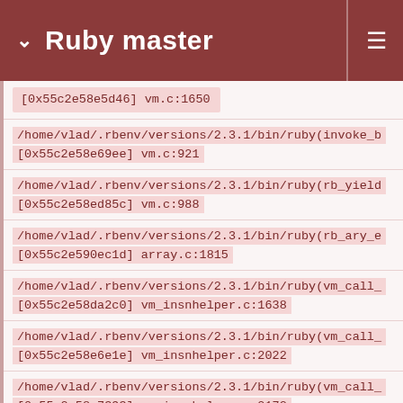Ruby master
[0x55c2e58e5d46] vm.c:1650
/home/vlad/.rbenv/versions/2.3.1/bin/ruby(invoke_b...
[0x55c2e58e69ee] vm.c:921
/home/vlad/.rbenv/versions/2.3.1/bin/ruby(rb_yield...
[0x55c2e58ed85c] vm.c:988
/home/vlad/.rbenv/versions/2.3.1/bin/ruby(rb_ary_e...
[0x55c2e590ec1d] array.c:1815
/home/vlad/.rbenv/versions/2.3.1/bin/ruby(vm_call_...
[0x55c2e58da2c0] vm_insnhelper.c:1638
/home/vlad/.rbenv/versions/2.3.1/bin/ruby(vm_call_...
[0x55c2e58e6e1e] vm_insnhelper.c:2022
/home/vlad/.rbenv/versions/2.3.1/bin/ruby(vm_call_...
[0x55c2e58e7393] vm_insnhelper.c:2172
/home/vlad/.rbenv/versions/2.3.1/bin/ruby(vm_exec_...
[0x55c2e58e122b] insns.def:964
/home/vlad/.rbenv/versions/2.3.1/bin/ruby(vm_exec...